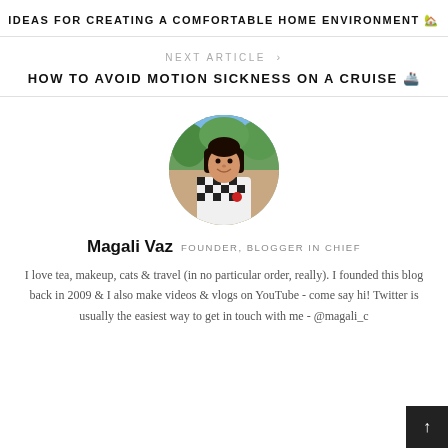IDEAS FOR CREATING A COMFORTABLE HOME ENVIRONMENT 🏡
NEXT ARTICLE >
HOW TO AVOID MOTION SICKNESS ON A CRUISE 🚢
[Figure (photo): Circular author profile photo of Magali Vaz, a woman wearing a black and white checkered shirt, outdoors with green trees in background]
Magali Vaz  FOUNDER, BLOGGER IN CHIEF
I love tea, makeup, cats & travel (in no particular order, really). I founded this blog back in 2009 & I also make videos & vlogs on YouTube - come say hi! Twitter is usually the easiest way to get in touch with me - @magali_c